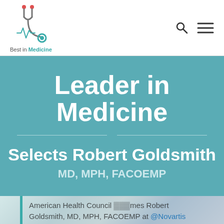[Figure (logo): Best in Medicine logo — stethoscope icon with text 'Best in Medicine' below]
Leader in Medicine
Selects Robert Goldsmith
MD, MPH, FACOEMP
American Health Council names Robert Goldsmith, MD, MPH, FACOEMP at @Novartis